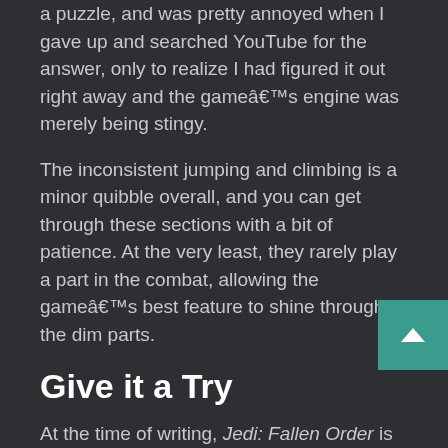a puzzle, and was pretty annoyed when I gave up and searched YouTube for the answer, only to realize I had figured it out right away and the gameâ€™s engine was merely being stingy.
The inconsistent jumping and climbing is a minor quibble overall, and you can get through these sections with a bit of patience. At the very least, they rarely play a part in the combat, allowing the gameâ€™s best feature to shine through the dim parts.
Give it a Try
At the time of writing, Jedi: Fallen Order is just $24 on Steam,Â  Epic, and Stadia, and you can frequently find the Xbox and PlayStation versions of the game discounted, too. Itâ€™s also on the EA Play and Xbox Game Pass subscription